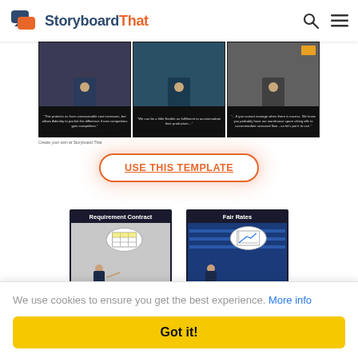[Figure (screenshot): StoryboardThat website header with logo, search icon, and hamburger menu]
[Figure (screenshot): Storyboard strip showing three panels with characters in dark scenes and caption boxes below]
Create your own at Storyboard That
[Figure (screenshot): USE THIS TEMPLATE button with orange rounded border and glow effect]
[Figure (screenshot): Two story cards: 'Requirement Contract' showing character with thought bubble of table, and 'Fair Rates' showing character at blue shelving with chart thought bubble]
We use cookies to ensure you get the best experience. More info
Got it!